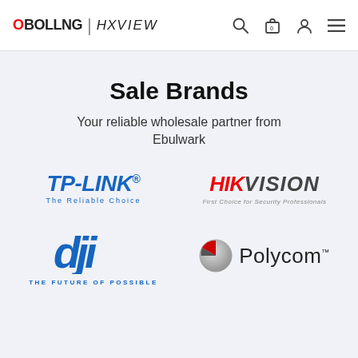OBOLLNG | HXVIEW
Sale Brands
Your reliable wholesale partner from Ebulwark
[Figure (logo): TP-LINK logo with tagline 'The Reliable Choice']
[Figure (logo): HIKVISION logo with tagline 'First Choice for Security Professionals']
[Figure (logo): DJI logo with tagline 'THE FUTURE OF POSSIBLE']
[Figure (logo): Polycom logo with sphere icon]